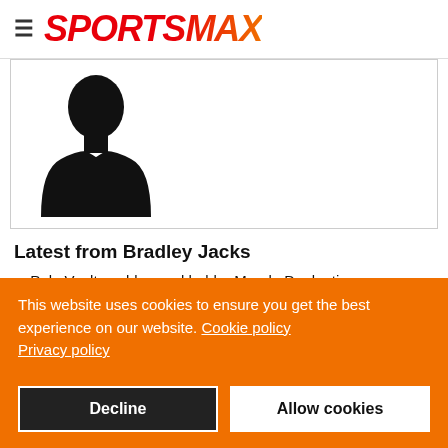SPORTSMAX
[Figure (illustration): Black silhouette of a person (default user avatar) on white background inside a bordered box]
Latest from Bradley Jacks
Pole Vault world record holder Mondo Duplantis says
This website uses cookies to ensure you get the best experience on our website. Cookie policy Privacy policy
Decline
Allow cookies